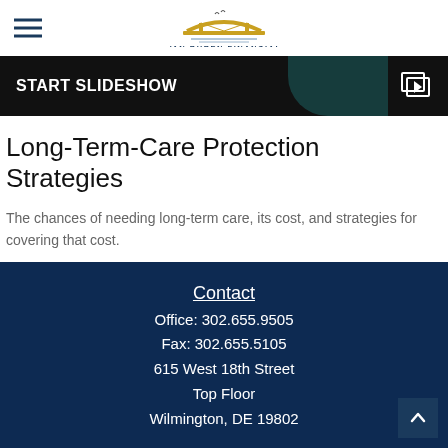Van Buren Financial
[Figure (screenshot): START SLIDESHOW banner with slideshow icon on dark background]
Long-Term-Care Protection Strategies
The chances of needing long-term care, its cost, and strategies for covering that cost.
Contact
Office: 302.655.9505
Fax: 302.655.5105
615 West 18th Street
Top Floor
Wilmington, DE 19802